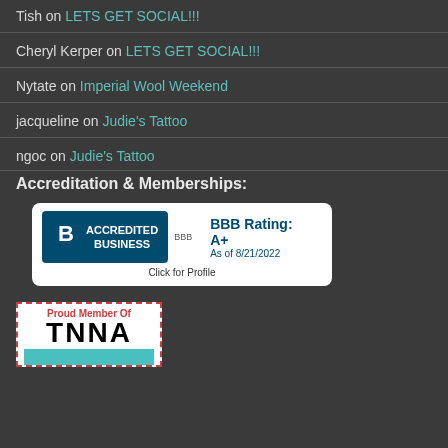Tish on LETS GET SOCIAL!!!
Cheryl Kerper on LETS GET SOCIAL!!!
Nytate on Imperial Wool Weekend
jacqueline on Judie's Tattoo
ngoc on Judie's Tattoo
Accreditation & Memberships:
[Figure (logo): BBB Accredited Business badge. BBB Rating: A+. As of 8/21/2022. Click for Profile.]
[Figure (logo): Proud Member Of TNNA badge with teal background stripe.]